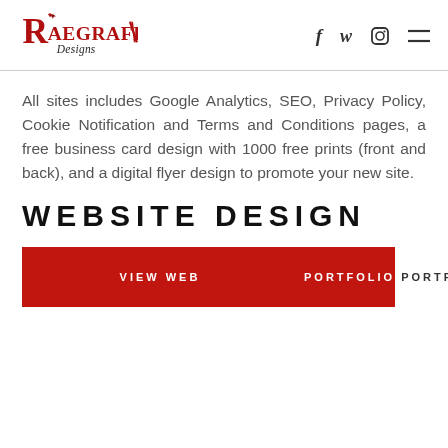RaeGrafix Designs — navigation with social icons (Facebook, Twitter, Instagram, menu)
All sites includes Google Analytics, SEO, Privacy Policy, Cookie Notification and Terms and Conditions pages, a free business card design with 1000 free prints (front and back), and a digital flyer design to promote your new site.
WEBSITE DESIGN
[Figure (other): Red button labeled VIEW WEB PORTFOLIO with the text continuing outside the button]